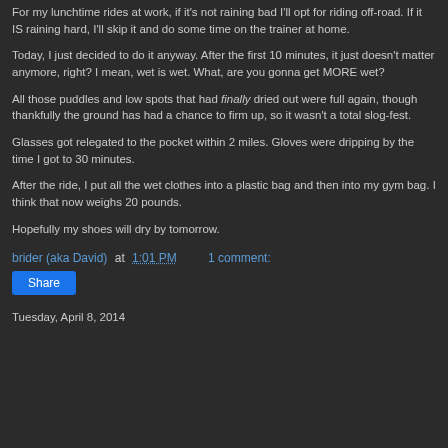For my lunchtime rides at work, if it's not raining bad I'll opt for riding off-road. If it IS raining hard, I'll skip it and do some time on the trainer at home.
Today, I just decided to do it anyway. After the first 10 minutes, it just doesn't matter anymore, right? I mean, wet is wet. What, are you gonna get MORE wet?
All those puddles and low spots that had finally dried out were full again, though thankfully the ground has had a chance to firm up, so it wasn't a total slog-fest.
Glasses got relegated to the pocket within 2 miles. Gloves were dripping by the time I got to 30 minutes.
After the ride, I put all the wet clothes into a plastic bag and then into my gym bag. I think that now weighs 20 pounds.
Hopefully my shoes will dry by tomorrow.
brider (aka David) at 1:01 PM   1 comment:
Share
Tuesday, April 8, 2014